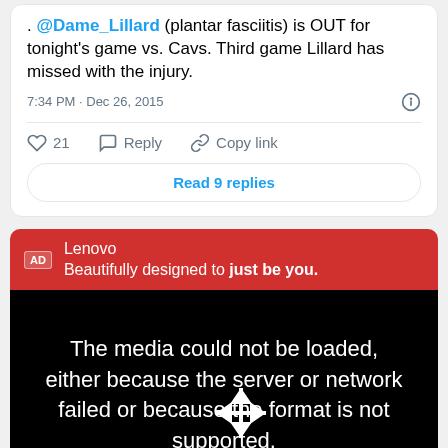. @Dame_Lillard (plantar fasciitis) is OUT for tonight's game vs. Cavs. Third game Lillard has missed with the injury.
7:34 PM · Dec 26, 2015
21  Reply  Copy link
Read 9 replies
Lenovo
Beautifully designed to just be you.
The media could not be loaded, either because the server or network failed or because the format is not supported.